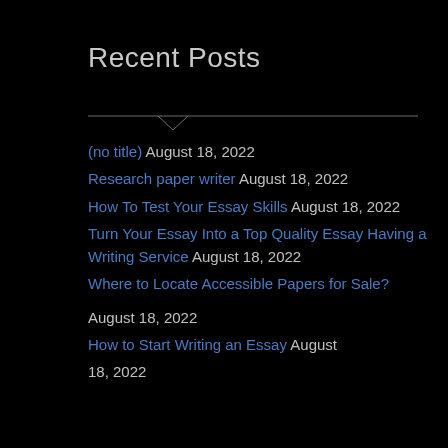Recent Posts
(no title) August 18, 2022
Research paper writer August 18, 2022
How To Test Your Essay Skills August 18, 2022
Turn Your Essay Into a Top Quality Essay Having a Writing Service August 18, 2022
Where to Locate Accessible Papers for Sale?
August 18, 2022
How to Start Writing an Essay August 18, 2022